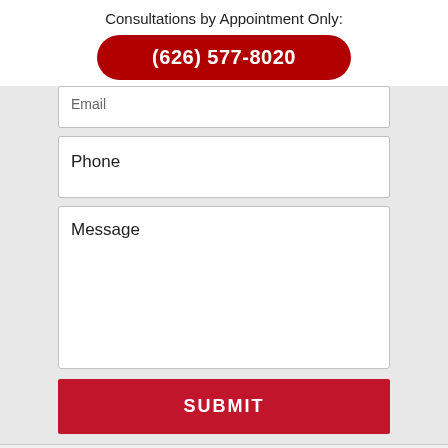Consultations by Appointment Only:
(626) 577-8020
Email
Phone
Message
SUBMIT
[Figure (logo): Social media icons: Facebook (blue), LinkedIn (blue), Justia (dark blue), RSS feed (orange)]